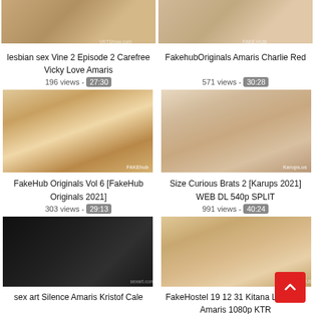[Figure (screenshot): Video thumbnail grid showing adult video listings with titles and view counts]
lesbian sex Vine 2 Episode 2 Carefree Vicky Love Amaris
196 views - 27:30
FakehubOriginals Amaris Charlie Red
571 views - 30:28
FakeHub Originals Vol 6 [FakeHub Originals 2021]
303 views - 29:13
Size Curious Brats 2 [Karups 2021] WEB DL 540p SPLIT
991 views - 40:24
sex art Silence Amaris Kristof Cale
FakeHostel 19 12 31 Kitana Lure And Amaris 1080p KTR